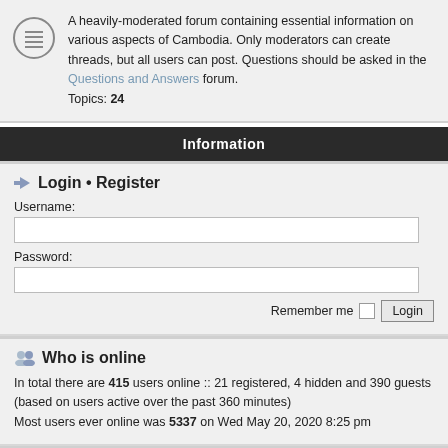A heavily-moderated forum containing essential information on various aspects of Cambodia. Only moderators can create threads, but all users can post. Questions should be asked in the Questions and Answers forum. Topics: 24
Information
Login • Register
Username:
Password:
Remember me  Login
Who is online
In total there are 415 users online :: 21 registered, 4 hidden and 390 guests (based on users active over the past 360 minutes) Most users ever online was 5337 on Wed May 20, 2020 8:25 pm
Statistics